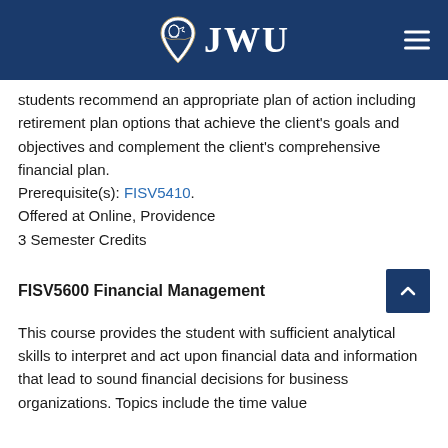JWU
students recommend an appropriate plan of action including retirement plan options that achieve the client's goals and objectives and complement the client's comprehensive financial plan. Prerequisite(s): FISV5410. Offered at Online, Providence 3 Semester Credits
FISV5600 Financial Management
This course provides the student with sufficient analytical skills to interpret and act upon financial data and information that lead to sound financial decisions for business organizations. Topics include the time value